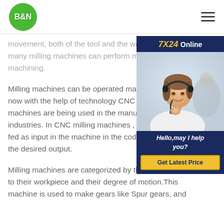B&N
movement, both of the tool and the workpiece, many milling machines can perform multiple axis machining.
Milling machines can be operated manually, but now with the help of technology CNC Milling machines are being used in the manufacturing industries. In CNC milling machines , programs are fed as input in the machine in the codes form giving the desired output.
Milling machines are categorized by their orientation to their workpiece and their degree of motion.This machine is used to make gears like Spur gears, and
[Figure (infographic): 7X24 Online chat widget showing a customer service representative wearing a headset, with text 'Hello,may I help you?' and a 'Get Latest Price' button]